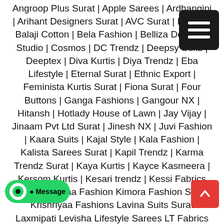Angroop Plus Surat | Apple Sarees | Ardhangini | Arihant Designers Surat | AVC Surat | Baanvi | Balaji Cotton | Bela Fashion | Belliza Designer Studio | Cosmos | DC Trendz | Deepsy Suits | Deeptex | Diva Kurtis | Diya Trendz | Eba Lifestyle | Eternal Surat | Ethnic Export | Feminista Kurtis Surat | Fiona Surat | Four Buttons | Ganga Fashions | Gangour NX | Hitansh | Hotlady House of Lawn | Jay Vijay | Jinaam Pvt Ltd Surat | Jinesh NX | Juvi Fashion | Kaara Suits | Kajal Style | Kala Fashion | Kalista Sarees Surat | Kapil Trendz | Karma Trendz Surat | Kaya Kurtis | Kayce Kasmeera | Kersom Kurtis | Kesari trendz | Kessi Fabrics Surat | Kianaa Fashion Kimora Fashion Surat Krishriyaa Fashions Lavina Suits Surat Laxmipati Levisha Lifestyle Sarees LT Fabrics Surat LT Kurtis | Mahaveer Fashion Surat | Mahostsav Sarees | MAHOTSAV LEHENGA | Manas Fab | Meghali Suits Surat | Mittoo Kurtis | Mohini Fashion Surat | Moof Fashion | mughdha Surat | Om Tex | Priya Paridhi | Psyna Surat | Radhika
[Figure (other): Hamburger menu button, dark background with three white horizontal lines]
[Figure (other): WhatsApp message button, green rounded pill shape with phone icon and 'Message' label]
[Figure (other): Scroll to top button, red square with white upward arrow]